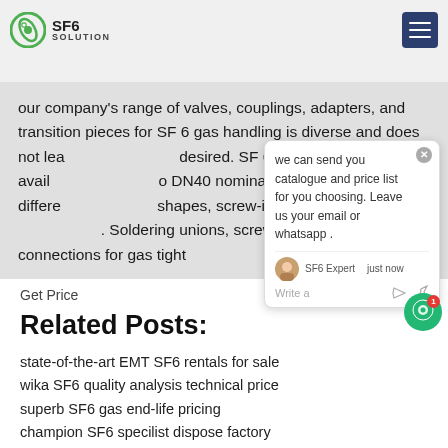SF6 SOLUTION
our company's range of valves, couplings, adapters, and transition pieces for SF 6 gas handling is diverse and does not lea… e desired. SF 6 gas connections avail… o DN40 nominal diameters with differe… shapes, screw-in versions or as plu… s. Soldering unions, screw-in stub… n… connections for gas tight
Get Price
Related Posts:
state-of-the-art EMT SF6 rentals for sale
wika SF6 quality analysis technical price
superb SF6 gas end-life pricing
champion SF6 specilist dispose factory